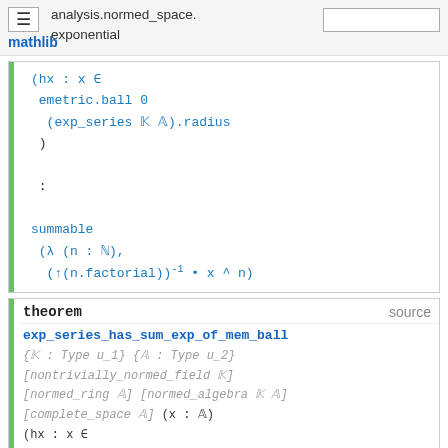analysis.normed_space.exponential — mathlib
theorem exp_series_has_sum_exp_of_mem_ball